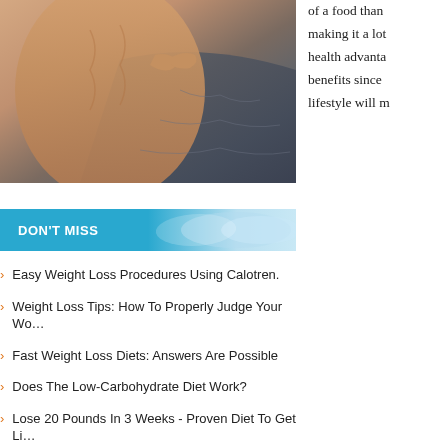[Figure (photo): Close-up photo of a person's muscular torso/abs with hand touching stomach area, wearing dark clothing]
of a food than making it a lot health advanta benefits since lifestyle will m
DON'T MISS
Easy Weight Loss Procedures Using Calotren.
Weight Loss Tips: How To Properly Judge Your Wo…
Fast Weight Loss Diets: Answers Are Possible
Does The Low-Carbohydrate Diet Work?
Lose 20 Pounds In 3 Weeks - Proven Diet To Get Li…
How To Lose 26 Pounds In 7 Weeks Without Giving…